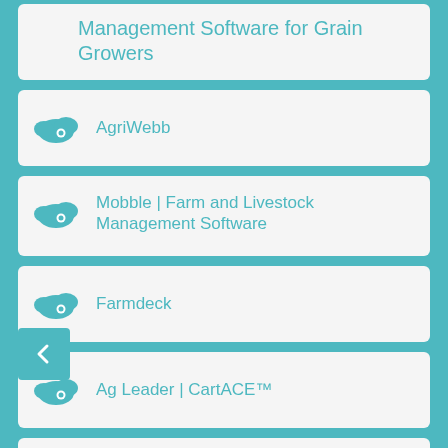Management Software for Grain Growers
AgriWebb
Mobble | Farm and Livestock Management Software
Farmdeck
Ag Leader | CartACE™
Farm Diary